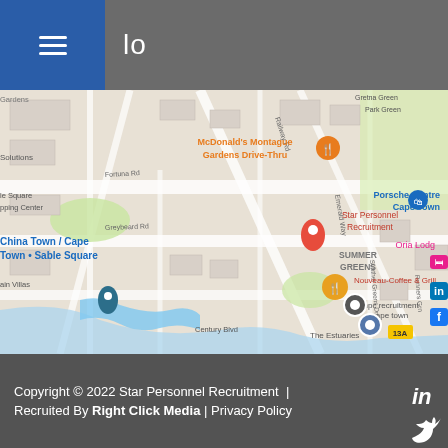≡  lo
[Figure (map): Google Maps screenshot showing Star Personnel Recruitment location in Montague Gardens, Cape Town. Nearby landmarks include McDonald's Montague Gardens Drive-Thru, Porsche Centre Cape Town, China Town / Cape Town • Sable Square, Nouveau-Coffee & Grill, mpc recruitment cape town, Oria Lodge, The Estuaries, and Century Blvd. Social media icons (LinkedIn, Facebook, Twitter) visible on the right edge.]
Copyright © 2022 Star Personnel Recruitment | Recruited By Right Click Media | Privacy Policy